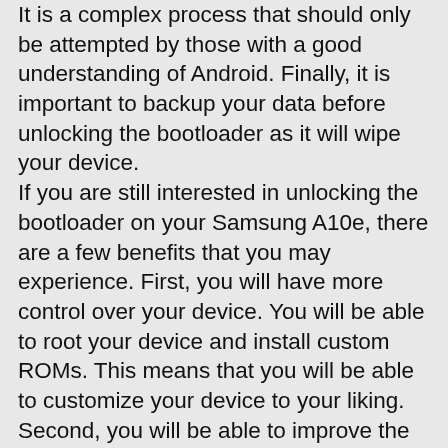It is a complex process that should only be attempted by those with a good understanding of Android. Finally, it is important to backup your data before unlocking the bootloader as it will wipe your device. If you are still interested in unlocking the bootloader on your Samsung A10e, there are a few benefits that you may experience. First, you will have more control over your device. You will be able to root your device and install custom ROMs. This means that you will be able to customize your device to your liking. Second, you will be able to improve the performance of your device. By Unlocking the bootloader, you will be able to install custom kernels which can overclocking your device and improve battery life. Finally, you will be able to access features that are not normally available on your device. For example, you will be able to install the Google Camera on your